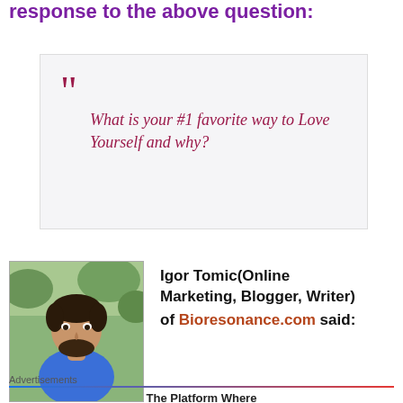response to the above question:
“” What is your #1 favorite way to Love Yourself and why?
[Figure (photo): Headshot photo of Igor Tomic, a man with dark hair and beard wearing a blue shirt, outdoors with green foliage in background]
Igor Tomic(Online Marketing, Blogger, Writer) of Bioresonance.com said:
Advertisements
The Platform Where...